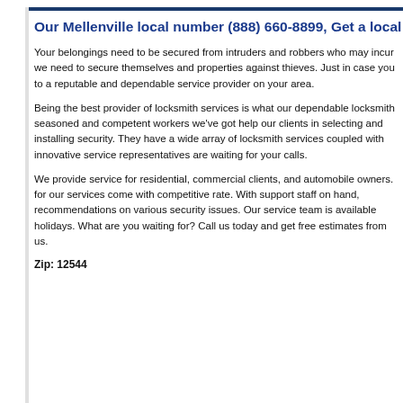Our Mellenville local number (888) 660-8899, Get a local locksmith
Your belongings need to be secured from intruders and robbers who may incur we need to secure themselves and properties against thieves. Just in case you to a reputable and dependable service provider on your area.
Being the best provider of locksmith services is what our dependable locksmith seasoned and competent workers we've got help our clients in selecting and installing security. They have a wide array of locksmith services coupled with innovative service representatives are waiting for your calls.
We provide service for residential, commercial clients, and automobile owners. for our services come with competitive rate. With support staff on hand, recommendations on various security issues. Our service team is available holidays. What are you waiting for? Call us today and get free estimates from us.
Zip: 12544